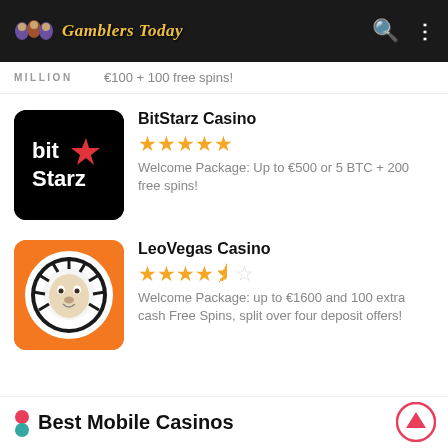Gamblers Today
MILLION  €100 + 100 free spins!
[Figure (logo): BitStarz Casino logo — white 'bit' text with red star, 'Starz' below, on black background]
BitStarz Casino
★★★★★ (5 stars)
Welcome Package: Up to €500 or 5 BTC + 200 free spins!
[Figure (logo): LeoVegas Casino logo — white lion head in circle on orange background]
LeoVegas Casino
★★★★☆ (4 stars, half star)
Welcome Package: up to €1600 and 100 extra cash Free Spins, split over four deposit offers!
Best Mobile Casinos